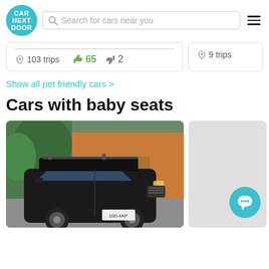[Figure (logo): Car Next Door circular teal logo]
Search for cars near you
103 trips  👍 65  👎 2
9 trips
Show all pet friendly cars >
Cars with baby seats
[Figure (photo): Black Mitsubishi Outlander SUV with roof rack parked in front of a garage]
[Figure (other): Second car card (partially visible, grey placeholder) with teal chat button overlay]